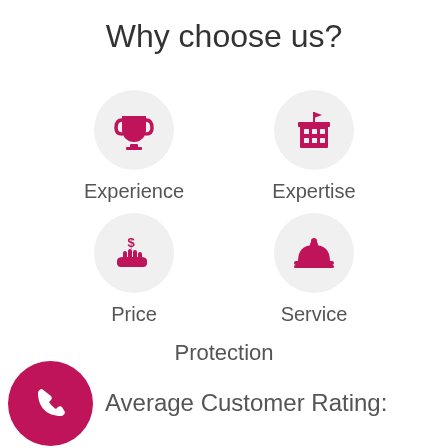Why choose us?
[Figure (infographic): Four icons in a 2x2 grid representing Experience (trophy), Expertise (building/hotel), Price (hand with dollar), Service (cloche/bell). Each icon is a pink/crimson symbol inside a light grey circle with a label below.]
Protection
[Figure (infographic): Pink circle with white phone handset icon representing contact/call.]
Average Customer Rating: